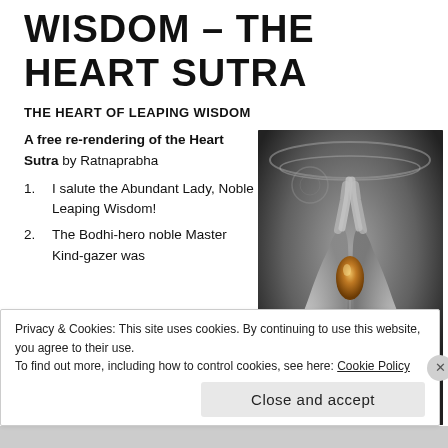WISDOM – THE HEART SUTRA
THE HEART OF LEAPING WISDOM
A free re-rendering of the Heart Sutra by Ratnaprabha
1. I salute the Abundant Lady, Noble Leaping Wisdom!
2. The Bodhi-hero noble Master Kind-gazer was
[Figure (photo): Grayscale image of praying hands holding a golden/amber teardrop-shaped object, with decorative chain/jewelry visible, against a dark background.]
Privacy & Cookies: This site uses cookies. By continuing to use this website, you agree to their use.
To find out more, including how to control cookies, see here: Cookie Policy
Close and accept